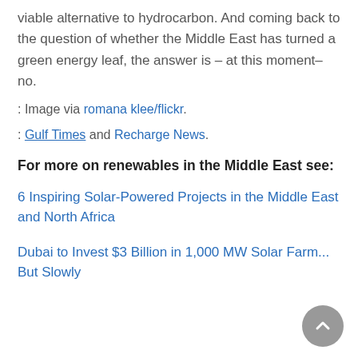viable alternative to hydrocarbon. And coming back to the question of whether the Middle East has turned a green energy leaf, the answer is – at this moment– no.
: Image via romana klee/flickr.
: Gulf Times and Recharge News.
For more on renewables in the Middle East see:
6 Inspiring Solar-Powered Projects in the Middle East and North Africa
Dubai to Invest $3 Billion in 1,000 MW Solar Farm... But Slowly